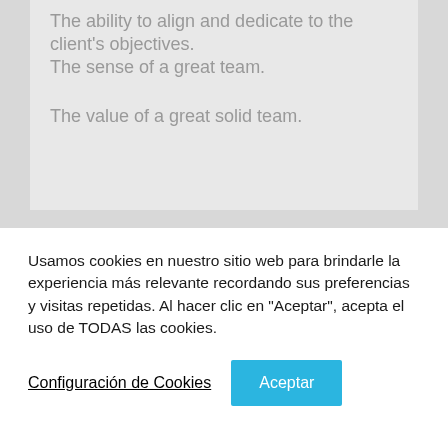The ability to align and dedicate to the client's objectives.
The sense of a great team.
The value of a great solid team.
Usamos cookies en nuestro sitio web para brindarle la experiencia más relevante recordando sus preferencias y visitas repetidas. Al hacer clic en "Aceptar", acepta el uso de TODAS las cookies.
Configuración de Cookies
Aceptar